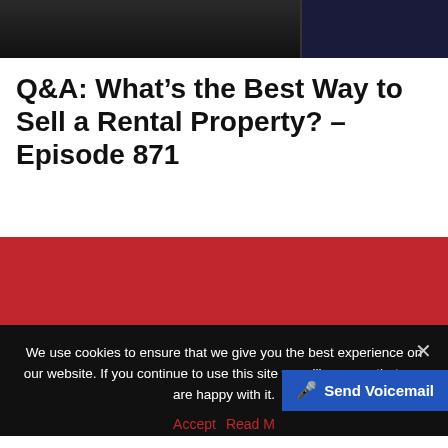[Figure (photo): Two side-by-side dark screenshot thumbnails at the top of the page]
Q&A: What’s the Best Way to Sell a Rental Property? – Episode 871
[Figure (photo): Red banner/advertisement section]
We use cookies to ensure that we give you the best experience on our website. If you continue to use this site we will assume that you are happy with it.
Accept  Read M...
Send Voicemail